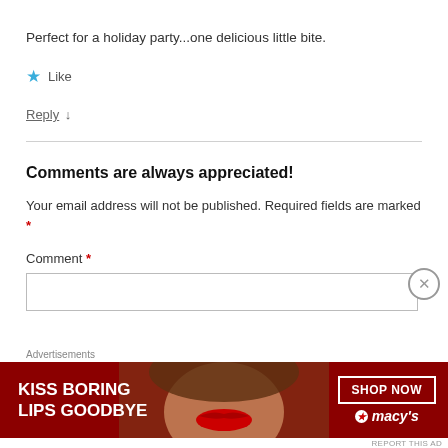Perfect for a holiday party...one delicious little bite.
★ Like
Reply ↓
Comments are always appreciated!
Your email address will not be published. Required fields are marked *
Comment *
[Figure (illustration): Advertisement banner for Macy's lipstick promotion: 'KISS BORING LIPS GOODBYE' with SHOP NOW button and Macy's star logo, featuring a woman's face with red lips on dark red background.]